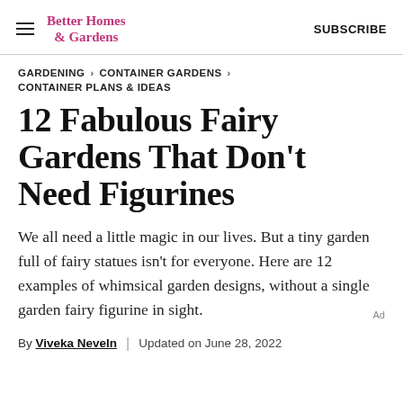Better Homes & Gardens  SUBSCRIBE
GARDENING > CONTAINER GARDENS > CONTAINER PLANS & IDEAS
12 Fabulous Fairy Gardens That Don't Need Figurines
We all need a little magic in our lives. But a tiny garden full of fairy statues isn't for everyone. Here are 12 examples of whimsical garden designs, without a single garden fairy figurine in sight.
By Viveka Neveln | Updated on June 28, 2022